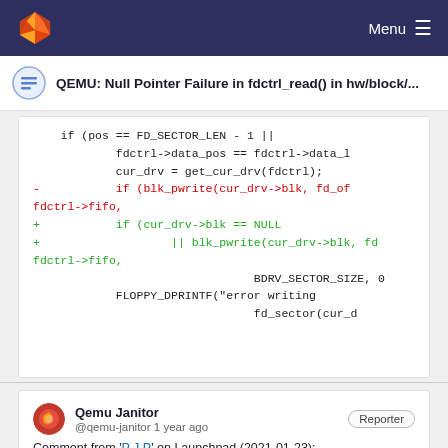Menu
QEMU: Null Pointer Failure in fdctrl_read() in hw/block/...
[Figure (screenshot): Code diff snippet showing a patch to check cur_drv->blk == NULL before calling blk_pwrite in fdctrl_read, with removed and added lines in the floppy disk controller source.]
Qemu Janitor @qemu-janitor 1 year ago
Comment from 'P J P' on Launchpad (2021-01-23):